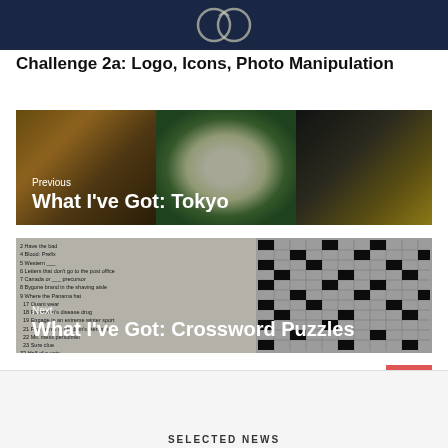[Figure (logo): Dark navy header banner with decorative circular logo/icon in white/light color]
Challenge 2a: Logo, Icons, Photo Manipulation
[Figure (photo): Navigation block labeled 'Previous' with title 'What I've Got: Tokyo' overlaid on food photography showing Japanese dishes]
[Figure (photo): Navigation block labeled 'Next' with title 'What I've Got: Crossword Puzzles' overlaid on crossword puzzle image]
SELECTED NEWS